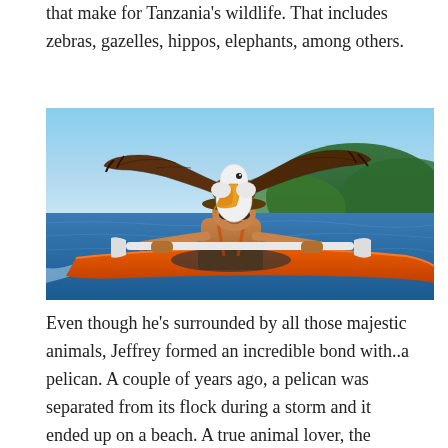that make for Tanzania's wildlife. That includes zebras, gazelles, hippos, elephants, among others.
[Figure (photo): A man kayaking on open water with a large pelican with wings spread wide perched on his head/hat. The man is shirtless, wearing a hat and sunglasses, holding a kayak paddle. Green hills and blue sky visible in background.]
Even though he's surrounded by all those majestic animals, Jeffrey formed an incredible bond with..a pelican. A couple of years ago, a pelican was separated from its flock during a storm and it ended up on a beach. A true animal lover, the